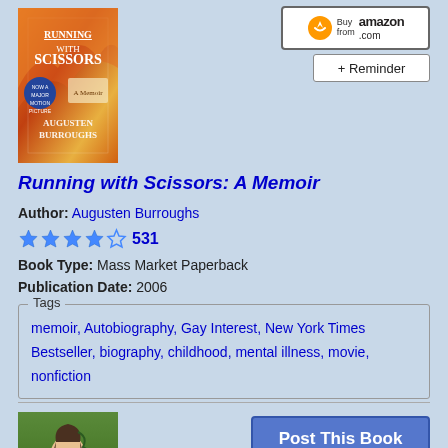[Figure (photo): Book cover of Running with Scissors by Augusten Burroughs, orange/red fiery background]
[Figure (screenshot): Buy from amazon.com button]
[Figure (screenshot): + Reminder button]
Running with Scissors: A Memoir
Author: Augusten Burroughs
★★★★☆ 531
Book Type: Mass Market Paperback
Publication Date: 2006
Tags
memoir, Autobiography, Gay Interest, New York Times Bestseller, biography, childhood, mental illness, movie, nonfiction
[Figure (photo): Book cover of Oranges Are Not the Only Fruit by Jeanette Winterson, green and gold tones with a woman figure]
[Figure (screenshot): Post This Book button]
[Figure (screenshot): + Reminder and + Wish buttons]
[Figure (screenshot): Buy from amazon.com button]